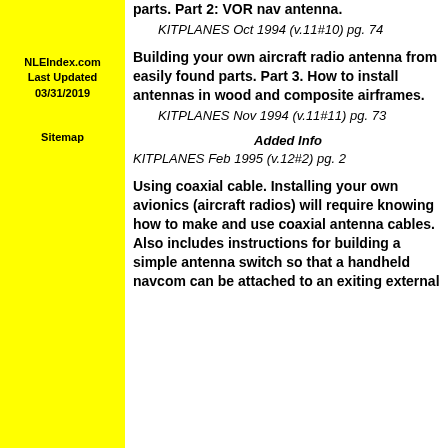NLEIndex.com
Last Updated
03/31/2019
Sitemap
parts. Part 2: VOR nav antenna.
KITPLANES Oct 1994 (v.11#10) pg. 74
Building your own aircraft radio antenna from easily found parts. Part 3. How to install antennas in wood and composite airframes.
KITPLANES Nov 1994 (v.11#11) pg. 73
Added Info
KITPLANES Feb 1995 (v.12#2) pg. 2
Using coaxial cable. Installing your own avionics (aircraft radios) will require knowing how to make and use coaxial antenna cables. Also includes instructions for building a simple antenna switch so that a handheld navcom can be attached to an exiting external